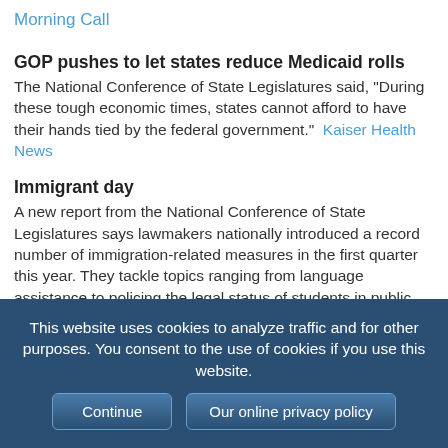Morning Call
GOP pushes to let states reduce Medicaid rolls
The National Conference of State Legislatures said, "During these tough economic times, states cannot afford to have their hands tied by the federal government."  Kaiser Health News
Immigrant day
A new report from the National Conference of State Legislatures says lawmakers nationally introduced a record number of immigration-related measures in the first quarter this year. They tackle topics ranging from language assistance to policing the legal status of students in public schools.  Sacramento Bee
Compliance scorecard: Municipal compliance
According to the National Conference of State
This website uses cookies to analyze traffic and for other purposes. You consent to the use of cookies if you use this website.